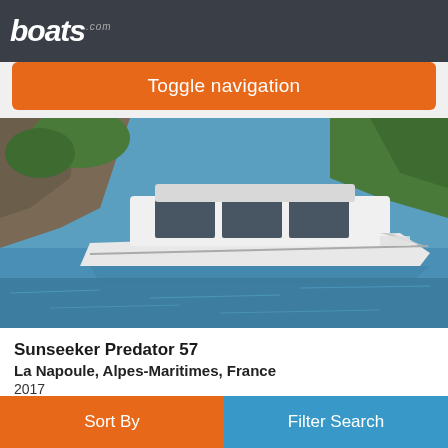boats.com
Toggle navigation
[Figure (photo): A white Sunseeker Predator 57 yacht on blue water with rocky coastline and green hills in background]
Sunseeker Predator 57
La Napoule, Alpes-Maritimes, France
2017
$1,661,101
Seller Sunseeker Monaco
Sort By
Filter Search